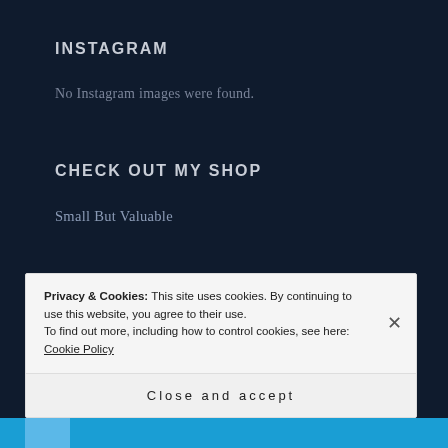INSTAGRAM
No Instagram images were found.
CHECK OUT MY SHOP
Small But Valuable
Privacy & Cookies: This site uses cookies. By continuing to use this website, you agree to their use.
To find out more, including how to control cookies, see here: Cookie Policy
Close and accept